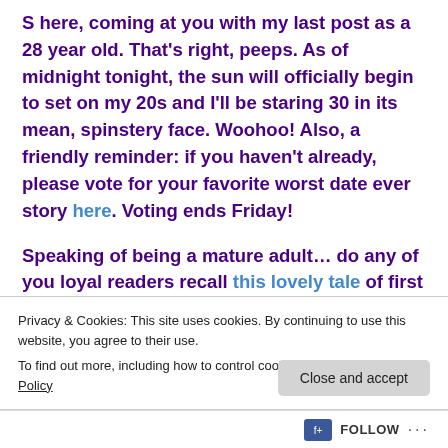S here, coming at you with my last post as a 28 year old. That's right, peeps. As of midnight tonight, the sun will officially begin to set on my 20s and I'll be staring 30 in its mean, spinstery face. Woohoo! Also, a friendly reminder: if you haven't already, please vote for your favorite worst date ever story here. Voting ends Friday!
Speaking of being a mature adult… do any of you loyal readers recall this lovely tale of first date tipsiness from L? Well last week, as I mentioned, I walked (or should I
Privacy & Cookies: This site uses cookies. By continuing to use this website, you agree to their use.
To find out more, including how to control cookies, see here: Cookie Policy
Close and accept
FOLLOW ...